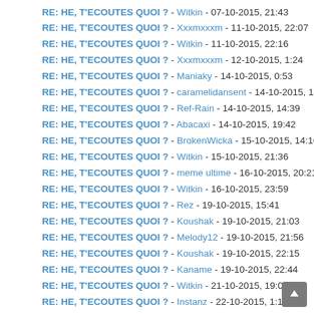RE: HE, T'ECOUTES QUOI ? - Witkin - 07-10-2015, 21:43
RE: HE, T'ECOUTES QUOI ? - Xxxmxxxm - 11-10-2015, 22:07
RE: HE, T'ECOUTES QUOI ? - Witkin - 11-10-2015, 22:16
RE: HE, T'ECOUTES QUOI ? - Xxxmxxxm - 12-10-2015, 1:24
RE: HE, T'ECOUTES QUOI ? - Maniaky - 14-10-2015, 0:53
RE: HE, T'ECOUTES QUOI ? - caramelidansent - 14-10-2015, 14:05
RE: HE, T'ECOUTES QUOI ? - Ref-Rain - 14-10-2015, 14:39
RE: HE, T'ECOUTES QUOI ? - Abacaxi - 14-10-2015, 19:42
RE: HE, T'ECOUTES QUOI ? - BrokenWicka - 15-10-2015, 14:16
RE: HE, T'ECOUTES QUOI ? - Witkin - 15-10-2015, 21:36
RE: HE, T'ECOUTES QUOI ? - meme ultime - 16-10-2015, 20:21
RE: HE, T'ECOUTES QUOI ? - Witkin - 16-10-2015, 23:59
RE: HE, T'ECOUTES QUOI ? - Rez - 19-10-2015, 15:41
RE: HE, T'ECOUTES QUOI ? - Koushak - 19-10-2015, 21:03
RE: HE, T'ECOUTES QUOI ? - Melody12 - 19-10-2015, 21:56
RE: HE, T'ECOUTES QUOI ? - Koushak - 19-10-2015, 22:15
RE: HE, T'ECOUTES QUOI ? - Kaname - 19-10-2015, 22:44
RE: HE, T'ECOUTES QUOI ? - Witkin - 21-10-2015, 19:02
RE: HE, T'ECOUTES QUOI ? - Instanz - 22-10-2015, 1:15
RE: HE, T'ECOUTES QUOI ? - Koushak - 23-10-2015, 14:28
RE: HE, T'ECOUTES QUOI ? - Last - 23-10-2015, 14:43
RE: HE, T'ECOUTES QUOI ? - Witkin - 23-10-2015, 16:24